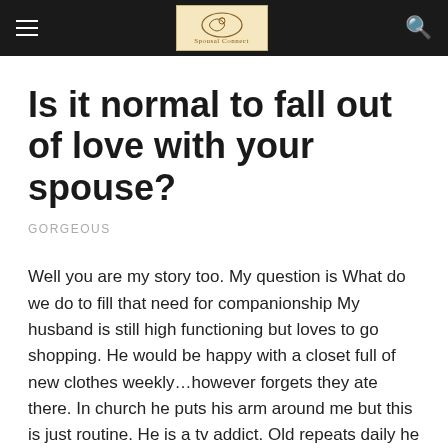Navigation bar with hamburger menu, logo, and search icon
Is it normal to fall out of love with your spouse?
GORGEOUS
Well you are my story too. My question is What do we do to fill that need for companionship My husband is still high functioning but loves to go shopping. He would be happy with a closet full of new clothes weekly…however forgets they ate there. In church he puts his arm around me but this is just routine. He is a tv addict. Old repeats daily he has seen before.
Sexting Taking sex photos Of course, around are an insane